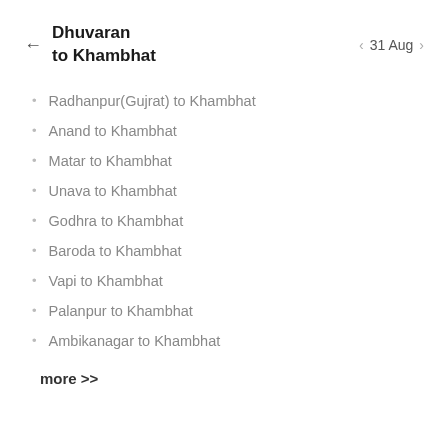Dhuvaran to Khambhat
31 Aug
Radhanpur(Gujrat) to Khambhat
Anand to Khambhat
Matar to Khambhat
Unava to Khambhat
Godhra to Khambhat
Baroda to Khambhat
Vapi to Khambhat
Palanpur to Khambhat
Ambikanagar to Khambhat
more >>